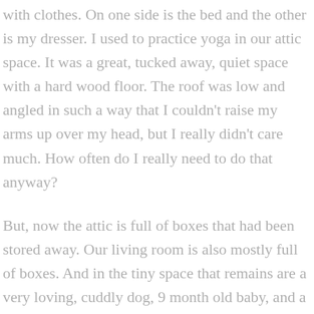with clothes. On one side is the bed and the other is my dresser. I used to practice yoga in our attic space. It was a great, tucked away, quiet space with a hard wood floor. The roof was low and angled in such a way that I couldn't raise my arms up over my head, but I really didn't care much. How often do I really need to do that anyway?
But, now the attic is full of boxes that had been stored away. Our living room is also mostly full of boxes. And in the tiny space that remains are a very loving, cuddly dog, 9 month old baby, and a husband.
I stopped teaching yoga the week of Thanksgiving because we thought we were moving back to Illinois that weekend.